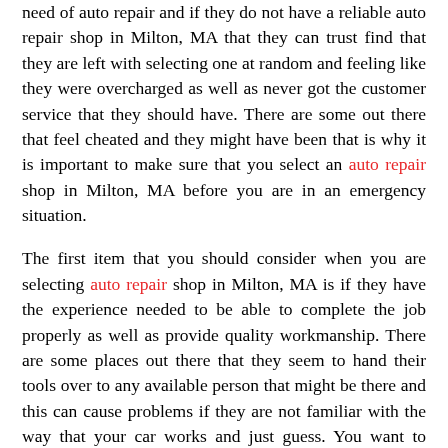need of auto repair and if they do not have a reliable auto repair shop in Milton, MA that they can trust find that they are left with selecting one at random and feeling like they were overcharged as well as never got the customer service that they should have. There are some out there that feel cheated and they might have been that is why it is important to make sure that you select an auto repair shop in Milton, MA before you are in an emergency situation.

The first item that you should consider when you are selecting auto repair shop in Milton, MA is if they have the experience needed to be able to complete the job properly as well as provide quality workmanship. There are some places out there that they seem to hand their tools over to any available person that might be there and this can cause problems if they are not familiar with the way that your car works and just guess. You want to make sure that the auto repair shop in Milton, MA that you select has people there that know what they are doing and will prove time and time